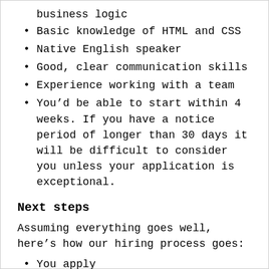business logic
Basic knowledge of HTML and CSS
Native English speaker
Good, clear communication skills
Experience working with a team
You’d be able to start within 4 weeks. If you have a notice period of longer than 30 days it will be difficult to consider you unless your application is exceptional.
Next steps
Assuming everything goes well, here’s how our hiring process goes:
You apply
We do an initial interview...